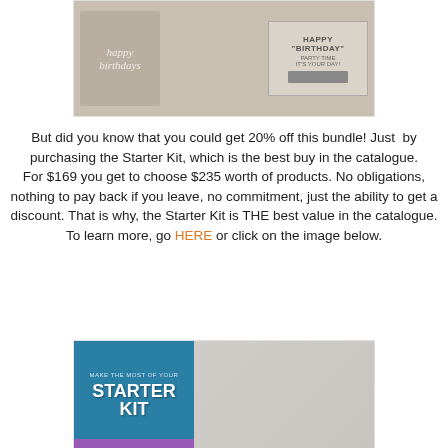[Figure (photo): Photo of stamp dies and a stamp set with 'Happy Birthday' and 'Party Time' text on a tan/beige background]
But did you know that you could get 20% off this bundle! Just  by purchasing the Starter Kit, which is the best buy in the catalogue. For $169 you get to choose $235 worth of products. No obligations, nothing to pay back if you leave, no commitment, just the ability to get a discount. That is why, the Starter Kit is THE best value in the catalogue. To learn more, go HERE or click on the image below.
[Figure (photo): Promotional image for Stampin' Up Starter Kit showing a woman smiling and text 'Make the most of your Starter Kit' on a teal background with purple bar at bottom]